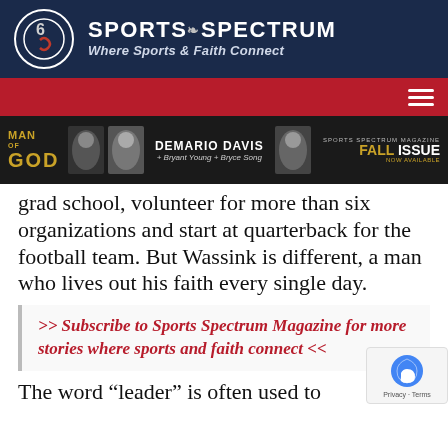[Figure (logo): Sports Spectrum logo with circular emblem and text 'SPORTS SPECTRUM' and tagline 'Where Sports & Faith Connect' on dark navy background]
[Figure (infographic): Red navigation bar with hamburger menu icon on the right]
[Figure (infographic): Banner advertisement for Sports Spectrum Magazine Fall Issue featuring Man of God with Demario Davis, Bryant Young, Bryce Song]
grad school, volunteer for more than six organizations and start at quarterback for the football team. But Wassink is different, a man who lives out his faith every single day.
>> Subscribe to Sports Spectrum Magazine for more stories where sports and faith connect <<
The word “leader” is often used to